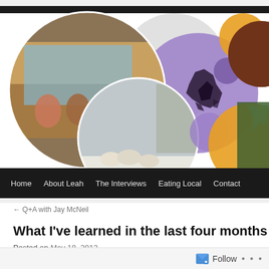[Figure (illustration): Blog header banner with decorative circles in purple, orange, and gray, overlaid with circular photo of people dining together and circular photo of sheep in snowy barnyard. Purple circle contains a hand-drawn map silhouette.]
Home | About Leah | The Interviews | Eating Local | Contact
← Q+A with Jay McNeil
What I've learned in the last four months
Posted on May 18, 2012